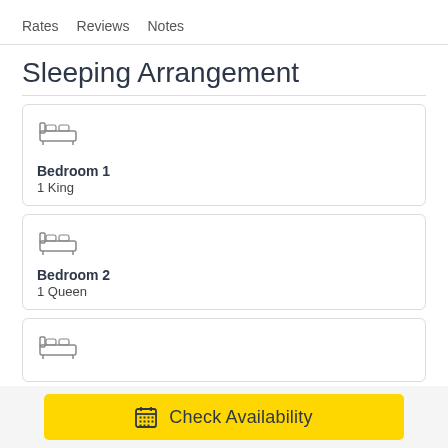Rates   Reviews   Notes
Sleeping Arrangement
Bedroom 1 — 1 King
Bedroom 2 — 1 Queen
Bedroom 3 (partial)
Check Availability